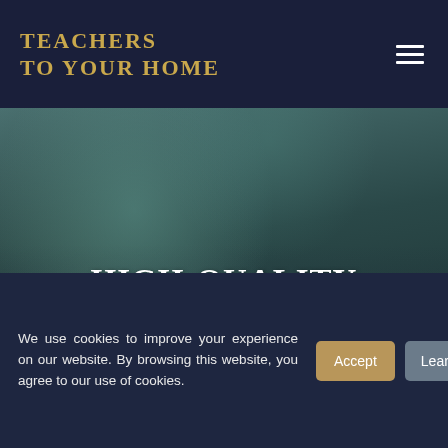TEACHERS TO YOUR HOME
[Figure (photo): Blurred close-up photo of a person studying or reading, wearing a teal/green top, dark moody background]
HIGH-QUALITY TUTORING FROM A QUALIFIED TEACHER IN DODWORTH
We use cookies to improve your experience on our website. By browsing this website, you agree to our use of cookies.
Accept
Learn More